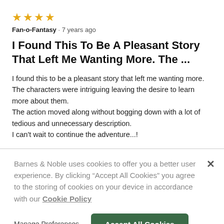[Figure (other): Four gold star rating icons]
Fan-o-Fantasy · 7 years ago
I Found This To Be A Pleasant Story That Left Me Wanting More. The ...
I found this to be a pleasant story that left me wanting more. The characters were intriguing leaving the desire to learn more about them.
The action moved along without bogging down with a lot of tedious and unnecessary description.
I can't wait to continue the adventure...!
Barnes & Noble uses cookies to offer you a better user experience. By clicking "Accept All Cookies" you agree to the storing of cookies on your device in accordance with our Cookie Policy
Manage Preferences
Accept All Cookies